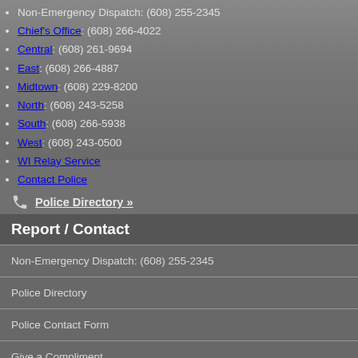Non-Emergency Dispatch: (608) 255-2345
Chief's Office: (608) 266-4022
Central: (608) 261-9694
East: (608) 266-4887
Midtown: (608) 229-8200
North: (608) 243-5258
South: (608) 266-5938
West: (608) 243-0500
WI Relay Service
Contact Police
Police Directory »
Report / Contact
Non-Emergency Dispatch: (608) 255-2345
Police Directory
Police Contact Form
Give a Compliment
Submit a Complaint Against an MPD Employee